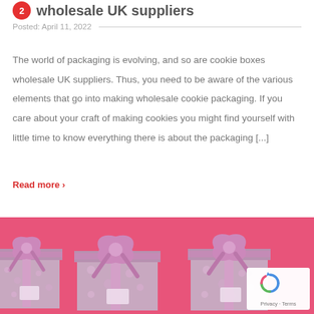wholesale UK suppliers
Posted: April 11, 2022
The world of packaging is evolving, and so are cookie boxes wholesale UK suppliers. Thus, you need to be aware of the various elements that go into making wholesale cookie packaging. If you care about your craft of making cookies you might find yourself with little time to know everything there is about the packaging [...]
Read more >
[Figure (photo): Pink background with multiple wrapped gift boxes decorated with purple/pink ribbons and bows, displayed in a row. A reCAPTCHA widget overlay is visible in the bottom right corner with reCAPTCHA logo and 'Privacy - Terms' text.]